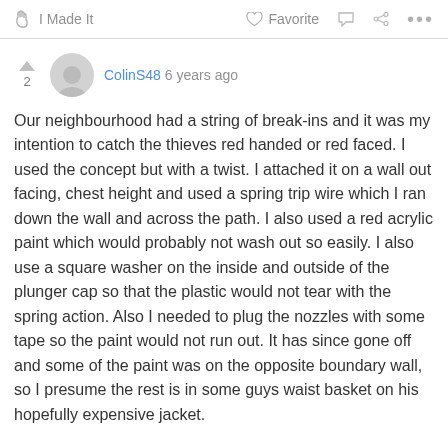I Made It   Favorite   ...
ColinS48 6 years ago
Our neighbourhood had a string of break-ins and it was my intention to catch the thieves red handed or red faced. I used the concept but with a twist. I attached it on a wall out facing, chest height and used a spring trip wire which I ran down the wall and across the path. I also used a red acrylic paint which would probably not wash out so easily. I also use a square washer on the inside and outside of the plunger cap so that the plastic would not tear with the spring action. Also I needed to plug the nozzles with some tape so the paint would not run out. It has since gone off and some of the paint was on the opposite boundary wall, so I presume the rest is in some guys waist basket on his hopefully expensive jacket.